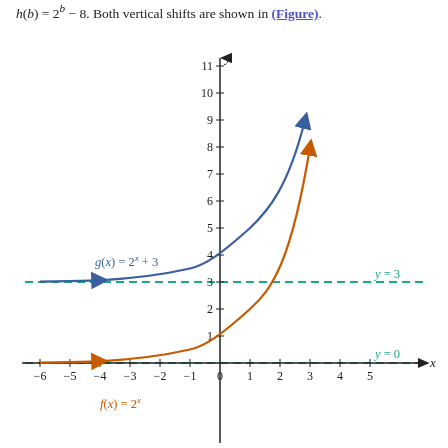h(b) = 2^b - 8. Both vertical shifts are shown in (Figure).
[Figure (continuous-plot): Graph showing two exponential functions: f(x) = 2^x (orange/red curve) with asymptote y=0, and g(x) = 2^x + 3 (blue curve) with asymptote y=3. Both curves have upward arrows indicating they continue to increase. The x-axis runs from -6 to 5, y-axis from below 0 to 11. Dashed teal horizontal lines mark asymptotes y=3 and y=0.]